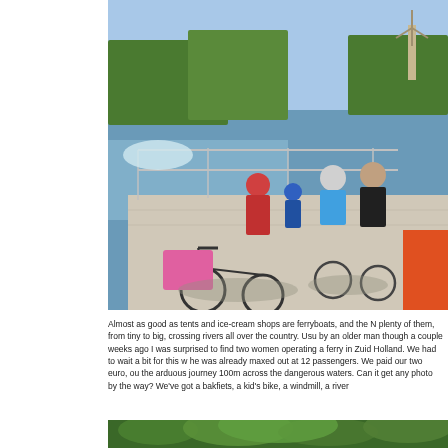[Figure (photo): People with bicycles on a ferry boat crossing a Dutch river, windmill visible in background on the right, trees lining the riverbanks, sunny day with blue sky and calm water.]
Almost as good as tents and ice-cream shops are ferryboats, and the N plenty of them, from tiny to big, crossing rivers all over the country. Usu by an older man though a couple weeks ago I was surprised to find two women operating a ferry in Zuid Holland. We had to wait a bit for this w he was already maxed out at 12 passengers. We paid our two euro, ou the arduous journey 100m across the dangerous waters. Can it get any photo by the way? We've got a bakfiets, a kid's bike, a windmill, a river
[Figure (photo): Green tree canopy viewed from below, lush summer foliage.]